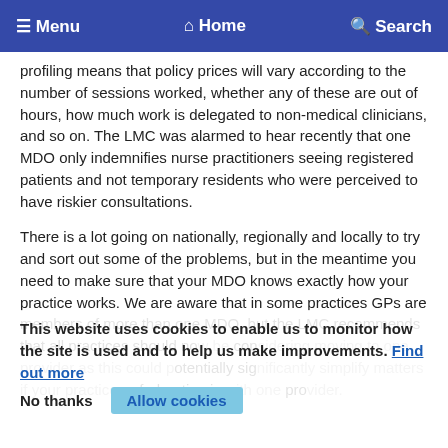Menu  Home  Search
profiling means that policy prices will vary according to the number of sessions worked, whether any of these are out of hours, how much work is delegated to non-medical clinicians, and so on. The LMC was alarmed to hear recently that one MDO only indemnifies nurse practitioners seeing registered patients and not temporary residents who were perceived to have riskier consultations.
There is a lot going on nationally, regionally and locally to try and sort out some of the problems, but in the meantime you need to make sure that your MDO knows exactly how your practice works. We are aware that in some practices GPs are members of more than one MDO, but the LMC recommends that all practices should now be considering moving to one provider as this could potentially significantly simplify matters if your practice or federation is with one provider.
This website uses cookies to enable us to monitor how the site is used and to help us make improvements. Find out more
No thanks  Allow cookies
We are also aware that subscription rates can vary widely between providers for what appears to be the same cover, and that a previous claim may add significantly to premiums. If you are having problems with obtaining affordable indemnity or insurance, please contact the LMC off...